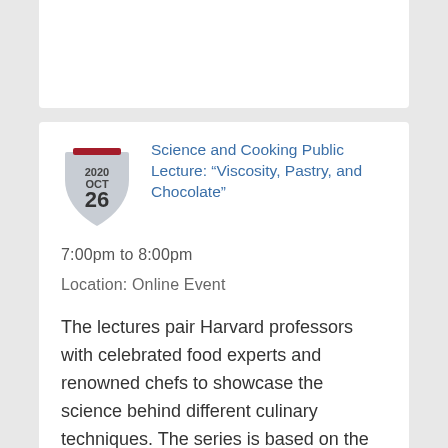Science and Cooking Public Lecture: “Viscosity, Pastry, and Chocolate”
7:00pm to 8:00pm
Location: Online Event
The lectures pair Harvard professors with celebrated food experts and renowned chefs to showcase the science behind different culinary techniques. The series is based on the Harvard